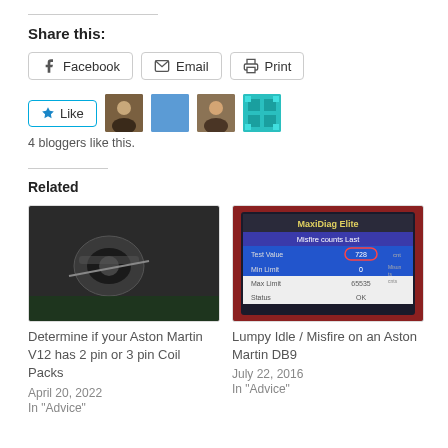Share this:
Facebook  Email  Print
[Figure (infographic): Like button with star icon and 4 blogger avatars]
4 bloggers like this.
Related
[Figure (photo): Photo of Aston Martin V12 coil pack connector]
Determine if your Aston Martin V12 has 2 pin or 3 pin Coil Packs
April 20, 2022
In "Advice"
[Figure (photo): Photo of MaxiDiag Elite diagnostic tool showing Misfire counts Last screen with Test Value 728 highlighted]
Lumpy Idle / Misfire on an Aston Martin DB9
July 22, 2016
In "Advice"